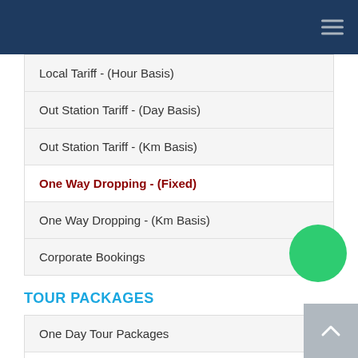Local Tariff - (Hour Basis)
Out Station Tariff - (Day Basis)
Out Station Tariff - (Km Basis)
One Way Dropping - (Fixed)
One Way Dropping - (Km Basis)
Corporate Bookings
TOUR PACKAGES
One Day Tour Packages
Two Days Tour Packages
Three Days Tour Packages
Four Days Tour Packages
Five Days Tour Packages
Six Days Tour Packages
Seven Days Tour Packages